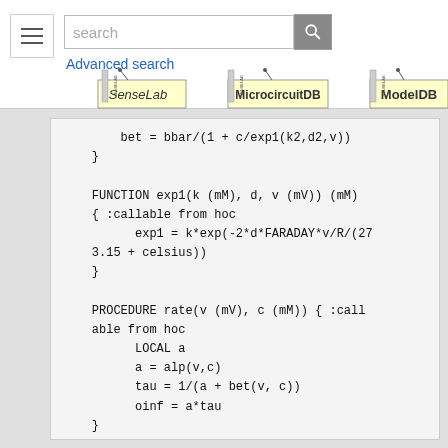search | Advanced search | SenseLab | MicrocircuitDB | ModelDB
[Figure (screenshot): Code block showing NMODL/HOC code with FUNCTION exp1 and PROCEDURE rate definitions]
bet = bbar/(1 + c/exp1(k2,d2,v))
}

FUNCTION exp1(k (mM), d, v (mV)) (mM)
{ :callable from hoc
    exp1 = k*exp(-2*d*FARADAY*v/R/(273.15 + celsius))
}

PROCEDURE rate(v (mV), c (mM)) { :callable from hoc
    LOCAL a
    a = alp(v,c)
    tau = 1/(a + bet(v, c))
    oinf = a*tau
}